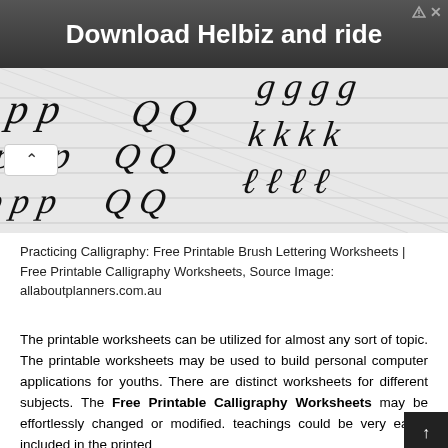[Figure (photo): Advertisement banner showing 'Download Helbiz and ride' with a person and camera in the background]
[Figure (photo): Calligraphy practice worksheets showing handwritten letters g, k, l in cursive script on ruled paper]
Practicing Calligraphy: Free Printable Brush Lettering Worksheets | Free Printable Calligraphy Worksheets, Source Image: allaboutplanners.com.au
The printable worksheets can be utilized for almost any sort of topic. The printable worksheets may be used to build personal computer applications for youths. There are distinct worksheets for different subjects. The Free Printable Calligraphy Worksheets may be effortlessly changed or modified. teachings could be very easily included in the printed